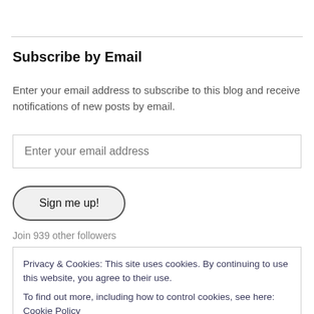Subscribe by Email
Enter your email address to subscribe to this blog and receive notifications of new posts by email.
Enter your email address
Sign me up!
Join 939 other followers
Privacy & Cookies: This site uses cookies. By continuing to use this website, you agree to their use.
To find out more, including how to control cookies, see here: Cookie Policy
Close and accept